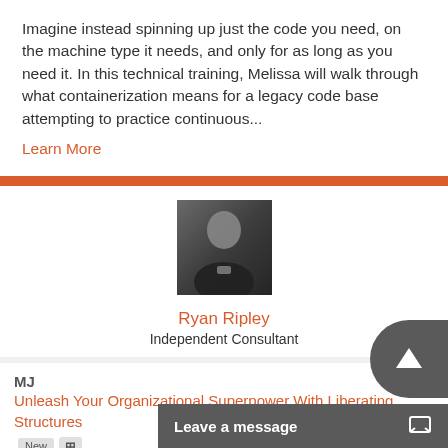Imagine instead spinning up just the code you need, on the machine type it needs, and only for as long as you need it. In this technical training, Melissa will walk through what containerization means for a legacy code base attempting to practice continuous...
Learn More
[Figure (photo): Headshot photo of Ryan Ripley, a bald man wearing a dark shirt, against a dark background]
Ryan Ripley
Independent Consultant
MJ  Unleash Your Organizational Superpower With Liberating Structures  New  +
Monday, June 3, 2019
Unleash innovation wi...
Leave a message